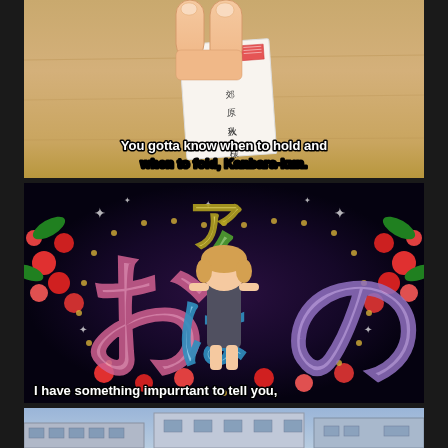[Figure (screenshot): Anime screenshot panel 1: close-up of hands pressing down on an envelope/letter with Japanese kanji written on it, warm wooden background]
You gotta know when to hold and when to fold, Kanbara-kun.
[Figure (screenshot): Anime screenshot panel 2: character seen from behind surrounded by large colorful Japanese hiragana letters and floral decorations on dark sparkly background]
I have something impurrtant to tell you,
[Figure (screenshot): Anime screenshot panel 3: exterior street scene with buildings]